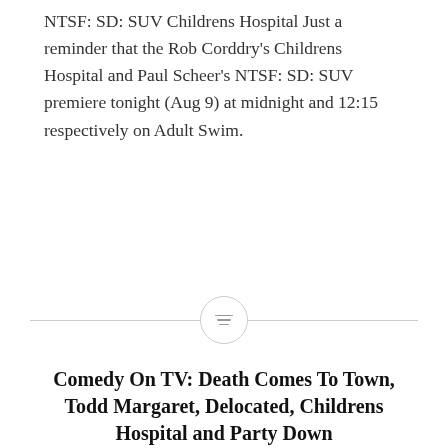NTSF: SD: SUV Childrens Hospital Just a reminder that the Rob Corddry's Childrens Hospital and Paul Scheer's NTSF: SD: SUV premiere tonight (Aug 9) at midnight and 12:15 respectively on Adult Swim.
[Figure (other): Decorative horizontal divider with a circle in the center containing three horizontal lines (menu/list icon)]
Comedy On TV: Death Comes To Town, Todd Margaret, Delocated, Childrens Hospital and Party Down
As I mentioned a little while ago, new half hour episodes of Jon Glaser's Delocated started airing on Aug 22, 2010 on